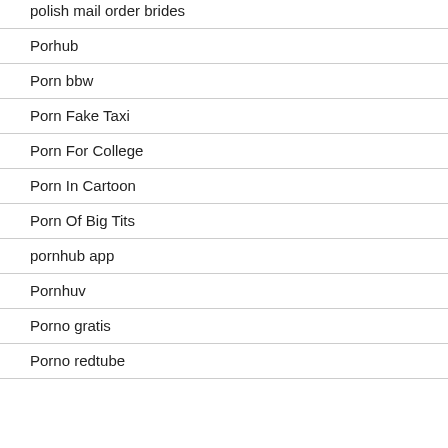polish mail order brides
Porhub
Porn bbw
Porn Fake Taxi
Porn For College
Porn In Cartoon
Porn Of Big Tits
pornhub app
Pornhuv
Porno gratis
Porno redtube